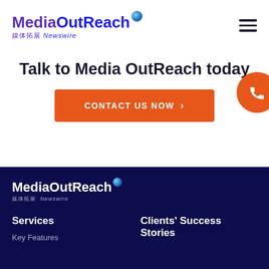[Figure (logo): MediaOutReach logo with globe icon, purple and blue text, Chinese characters and Newswire subtitle]
[Figure (other): Hamburger menu icon (three horizontal bars)]
Talk to Media OutReach today
CONTACT US NOW ›
[Figure (other): Orange floating phone button on right side]
[Figure (logo): MediaOutReach logo white version with globe icon and Chinese Newswire subtitle on dark navy background]
Services
Clients' Success Stories
Key Features